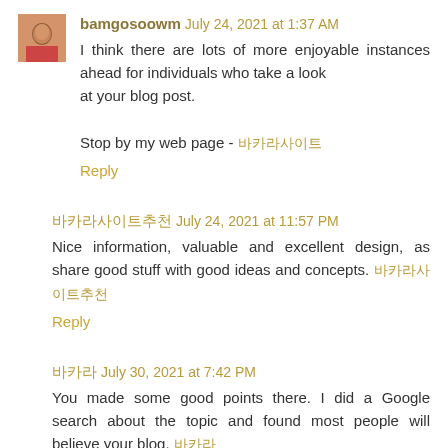bamgosoowm July 24, 2021 at 1:37 AM
I think there are lots of more enjoyable instances ahead for individuals who take a look at your blog post.

Stop by my web page - 바카라사이트
Reply
바카라사이트추천 July 24, 2021 at 11:57 PM
Nice information, valuable and excellent design, as share good stuff with good ideas and concepts. 바카라사이트추천
Reply
바카라 July 30, 2021 at 7:42 PM
You made some good points there. I did a Google search about the topic and found most people will believe your blog. 바카라